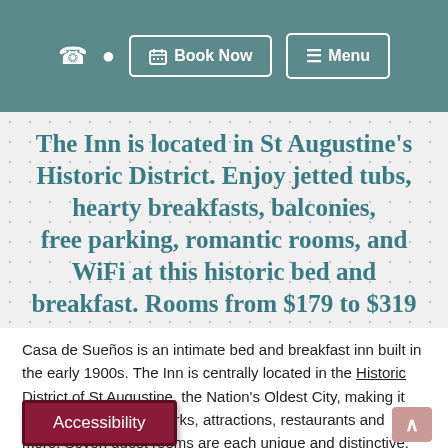☎ ◉  📅 Book Now  ≡ Menu
The Inn is located in St Augustine's Historic District. Enjoy jetted tubs, hearty breakfasts, balconies, free parking, romantic rooms, and WiFi at this historic bed and breakfast. Rooms from $179 to $319
Casa de Sueños is an intimate bed and breakfast inn built in the early 1900s. The Inn is centrally located in the Historic District of St Augustine, the Nation's Oldest City, making it easy to walk to landmarks, attractions, restaurants and more. Seven guest rooms are each unique and distinctive, some with extra romantic touches like two-person jetted tubs